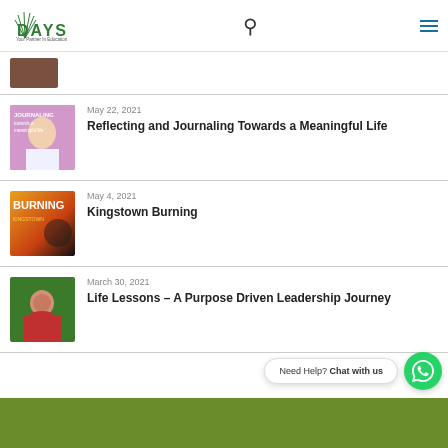Days - Your Partner in Education
[Figure (photo): Partial thumbnail of an article image at top, cropped]
May 22, 2021
Reflecting and Journaling Towards a Meaningful Life
[Figure (photo): Thumbnail for Reflecting and Journaling article showing a person]
May 4, 2021
Kingstown Burning
[Figure (photo): Thumbnail for Kingstown Burning article with BURNING text overlay]
March 30, 2021
Life Lessons – A Purpose Driven Leadership Journey
[Figure (photo): Thumbnail for Life Lessons article showing a smiling woman in red]